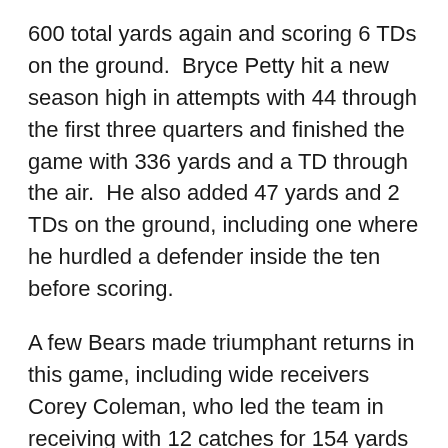600 total yards again and scoring 6 TDs on the ground.  Bryce Petty hit a new season high in attempts with 44 through the first three quarters and finished the game with 336 yards and a TD through the air.  He also added 47 yards and 2 TDs on the ground, including one where he hurdled a defender inside the ten before scoring.
A few Bears made triumphant returns in this game, including wide receivers Corey Coleman, who led the team in receiving with 12 catches for 154 yards and the lone receiving TD, Antwan Goodley, who also went over 100 yards with 114, and Clay Fuller, who surprised everyone by coming in for the fourth quarter and catching 2 passes for 21 yards.  On the ground, Shock Linwood led the way with 15 carries for 82 yards and 3 TDs.